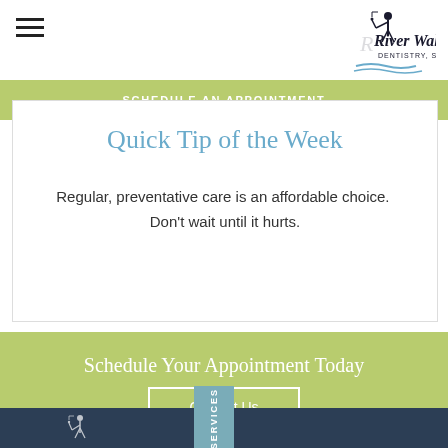[Figure (logo): River Walk Dentistry SC logo with golfer silhouette and wave]
SCHEDULE AN APPOINTMENT
Quick Tip of the Week
Regular, preventative care is an affordable choice.  Don't wait until it hurts.
Schedule Your Appointment Today
Contact Us
OUR SERVICES